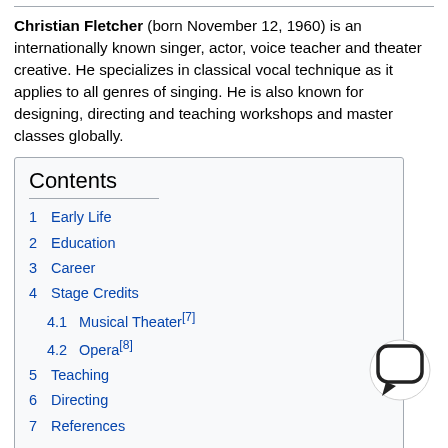Christian Fletcher (born November 12, 1960) is an internationally known singer, actor, voice teacher and theater creative. He specializes in classical vocal technique as it applies to all genres of singing. He is also known for designing, directing and teaching workshops and master classes globally.
Contents
1   Early Life
2   Education
3   Career
4   Stage Credits
4.1   Musical Theater[7]
4.2   Opera[8]
5   Teaching
6   Directing
7   References